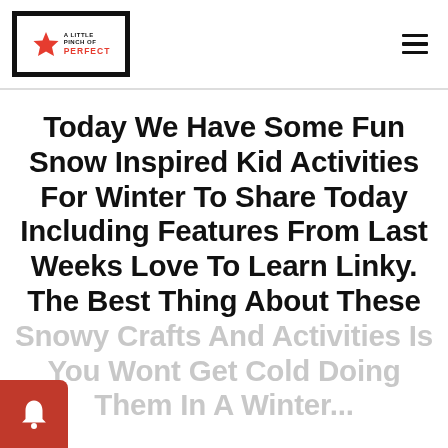A Little Pinch of Perfect [logo] — hamburger menu
Today We Have Some Fun Snow Inspired Kid Activities For Winter To Share Today Including Features From Last Weeks Love To Learn Linky. The Best Thing About These Snowy Crafts And Activities Is You Wont Get Cold Doing Them In A Winter...